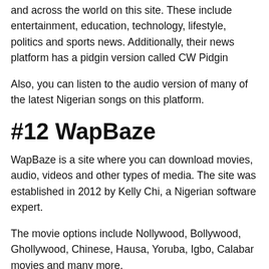and across the world on this site. These include entertainment, education, technology, lifestyle, politics and sports news. Additionally, their news platform has a pidgin version called CW Pidgin
Also, you can listen to the audio version of many of the latest Nigerian songs on this platform.
#12 WapBaze
WapBaze is a site where you can download movies, audio, videos and other types of media. The site was established in 2012 by Kelly Chi, a Nigerian software expert.
The movie options include Nollywood, Bollywood, Ghollywood, Chinese, Hausa, Yoruba, Igbo, Calabar movies and many more.
Also, you can watch wrestling (WWE), Nat Geo Wild and comedy videos on this platform